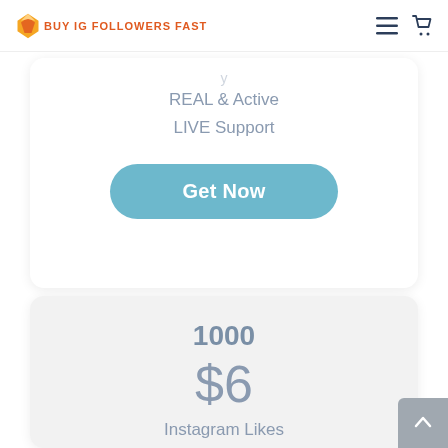BUY IG FOLLOWERS FAST
REAL & Active
LIVE Support
Get Now
1000
$6
Instagram Likes